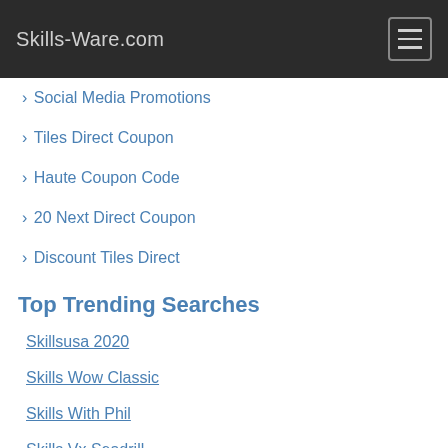Skills-Ware.com
Social Media Promotions
Tiles Direct Coupon
Haute Coupon Code
20 Next Direct Coupon
Discount Tiles Direct
Top Trending Searches
Skillsusa 2020
Skills Wow Classic
Skills With Phil
Skills Vx Seadrill
Skills To Succeed Academy
Skills Kin
Skills In Soccer